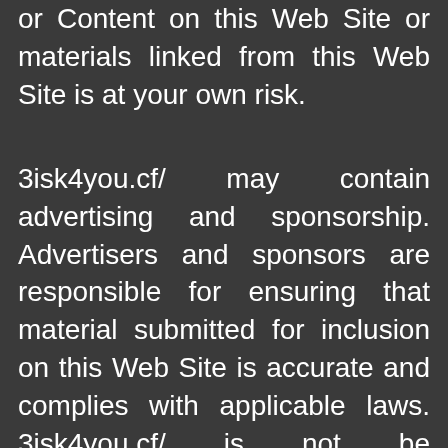or Content on this Web Site or materials linked from this Web Site is at your own risk.
3isk4you.cf/ may contain advertising and sponsorship. Advertisers and sponsors are responsible for ensuring that material submitted for inclusion on this Web Site is accurate and complies with applicable laws. 3isk4you.cf/ is not be responsible for the illegality of or any error or inaccuracy in advertisers’ or sponsors’ materials or for the acts or omissions of advertisers and